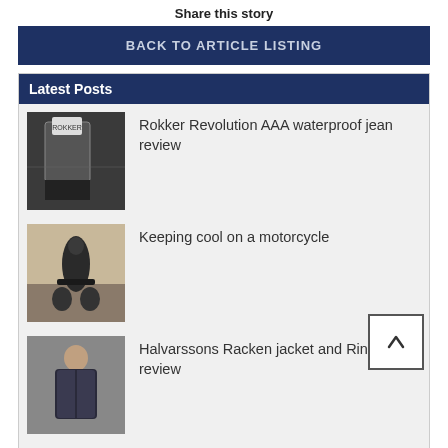Share this story
BACK TO ARTICLE LISTING
Latest Posts
Rokker Revolution AAA waterproof jean review
Keeping cool on a motorcycle
Halvarssons Racken jacket and Rinn pant review
Rokker Legend single-layer jean review
Single-layer motorcycle jeans vs Kevlar motorcycle jeans